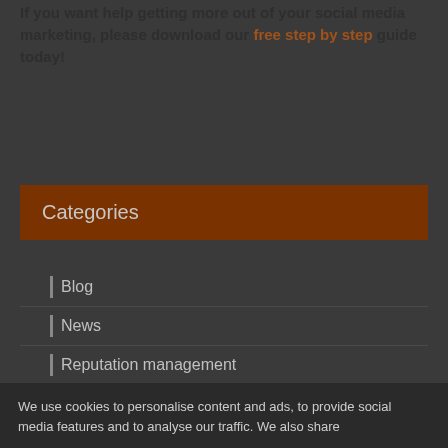If you want help getting more out of your social media marketing, please download our free step by step guide today!
Categories
Blog
News
Reputation management
We use cookies to personalise content and ads, to provide social media features and to analyse our traffic. We also share